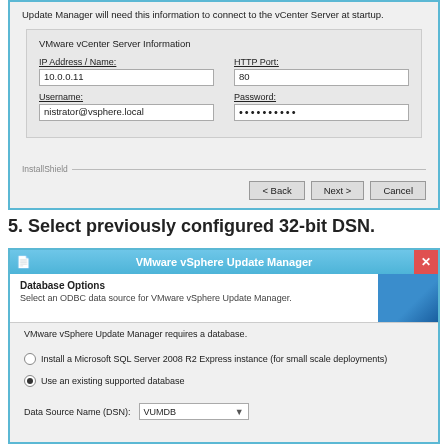[Figure (screenshot): VMware vCenter Server Information dialog showing IP Address/Name field with '10.0.0.11', HTTP Port '80', Username 'nistrator@vsphere.local', and Password field with masked characters. InstallShield bar with Back, Next, Cancel buttons.]
5. Select previously configured 32-bit DSN.
[Figure (screenshot): VMware vSphere Update Manager dialog - Database Options screen. Shows 'Select an ODBC data source for VMware vSphere Update Manager.' Text: 'VMware vSphere Update Manager requires a database.' Radio options: 'Install a Microsoft SQL Server 2008 R2 Express instance (for small scale deployments)' (unselected) and 'Use an existing supported database' (selected). Data Source Name (DSN) dropdown showing 'VUMDB'.]